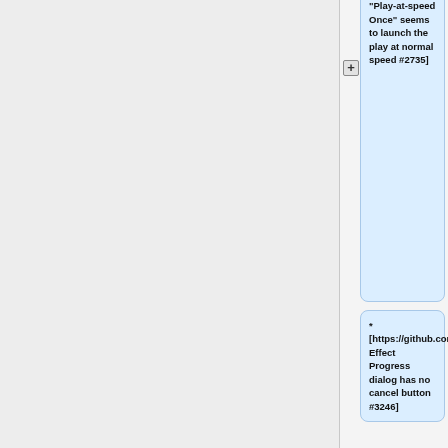* [https://github.com/audacity/audacity/issues/2735 Using custom shortcut for "Play-at-speed Once" seems to launch the play at normal speed #2735]
* [https://github.com/audacity/audacity/issues/3246 Effect Progress dialog has no cancel button #3246]
* [https://github.com/audacity/audacity/issues/3254 Vertical meters lose numbering - and returning to horizontal also loses numbering #3254]